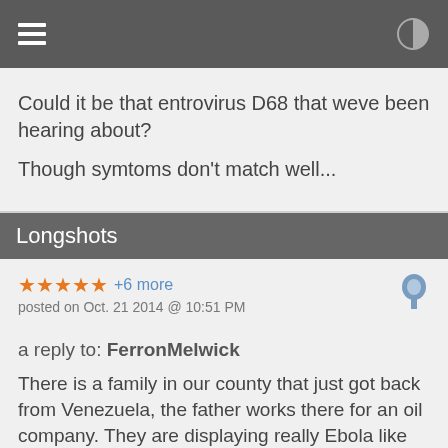≡  ◑
Could it be that entrovirus D68 that weve been hearing about?
Though symtoms don't match well...
Longshots
★ ★ ★ ★ ★ +6 more
posted on Oct. 21 2014 @ 10:51 PM
a reply to: FerronMelwick
There is a family in our county that just got back from Venezuela, the father works there for an oil company. They are displaying really Ebola like symptoms but the CDC ignores the local hospital because the family hasn't traveled to a West Africa country. This is really scary.
edit on 21-10-2014 by Longshots because: spelling